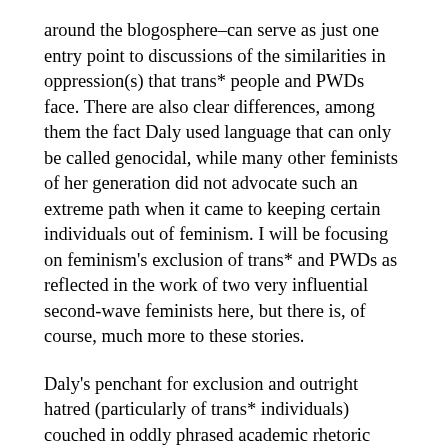around the blogosphere–can serve as just one entry point to discussions of the similarities in oppression(s) that trans* people and PWDs face. There are also clear differences, among them the fact Daly used language that can only be called genocidal, while many other feminists of her generation did not advocate such an extreme path when it came to keeping certain individuals out of feminism. I will be focusing on feminism's exclusion of trans* and PWDs as reflected in the work of two very influential second-wave feminists here, but there is, of course, much more to these stories.
Daly's penchant for exclusion and outright hatred (particularly of trans* individuals) couched in oddly phrased academic rhetoric unfortunately brings to mind another famous second-waver's similar issues with people (particularly women) with disabilities. Princeton scholar Elaine Showalter — best known for bringing feminist literary theory to the fore in the academy at a time when